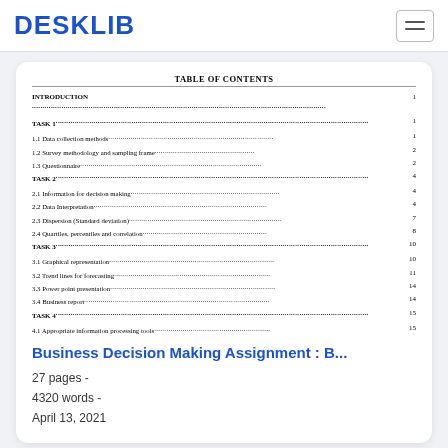DESKLIB
TABLE OF CONTENTS
INTRODUCTION 1
TASK 1 1
1.1 Data collection methods 1
1.2 Survey methodology and sampling frame 2
1.3 Questionnaire 2
TASK 2 4
2.1 Information for decision making 4
2.2 Data Interpretation 4
2.3 Dispersion (Standard deviation) 7
2.4 Quartiles, percentiles and correlation 8
TASK 3 10
3.1 Graphical representation 10
3.2 Trend lines for forecasting 11
3.3 Power point presentation 14
3.4 Business report 14
TASK 4 15
4.1 Appropriate information processing tools 15
Business Decision Making Assignment : B...
27 pages -
4320 words -
April 13, 2021